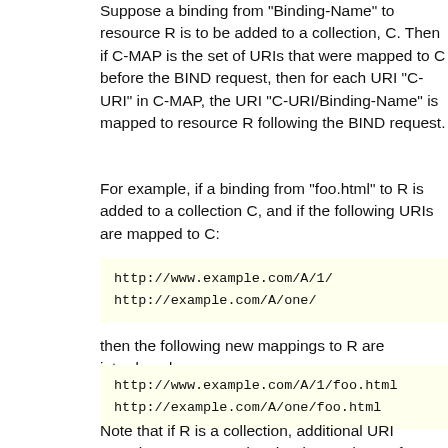Suppose a binding from "Binding-Name" to resource R is to be added to a collection, C. Then if C-MAP is the set of URIs that were mapped to C before the BIND request, then for each URI "C-URI" in C-MAP, the URI "C-URI/Binding-Name" is mapped to resource R following the BIND request.
For example, if a binding from "foo.html" to R is added to a collection C, and if the following URIs are mapped to C:
http://www.example.com/A/1/
http://example.com/A/one/
then the following new mappings to R are introduced:
http://www.example.com/A/1/foo.html
http://example.com/A/one/foo.html
Note that if R is a collection, additional URI mappings are created to the descendents of R. Also, note that if a binding is made in collection C to C itself (or to a parent